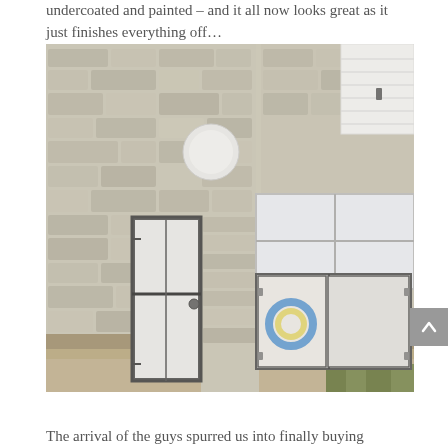undercoated and painted – and it all now looks great as it just finishes everything off…
[Figure (photo): Exterior stone wall of a building with a white door open, a round white light fixture on the wall, white window shutters visible in upper right, white cabinet/storage unit on the right side, and a garden hose visible inside the storage area. Rustic limestone wall construction.]
The arrival of the guys spurred us into finally buying